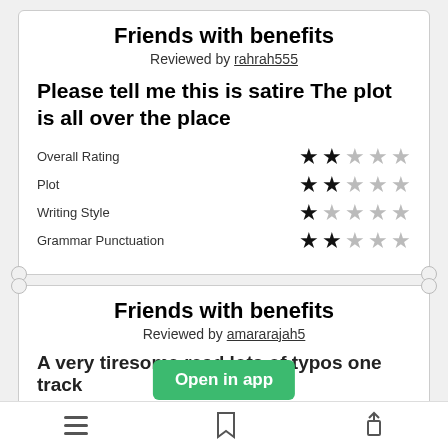Friends with benefits
Reviewed by rahrah555
Please tell me this is satire The plot is all over the place
| Category | Rating |
| --- | --- |
| Overall Rating | 2/5 |
| Plot | 2/5 |
| Writing Style | 1/5 |
| Grammar Punctuation | 2/5 |
Friends with benefits
Reviewed by amararajah5
A very tiresome read lots of typos one track
[Figure (other): Open in app green button overlay]
Navigation bar with list, bookmark, and share icons